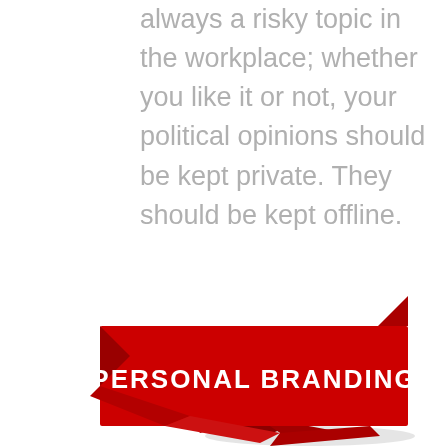always a risky topic in the workplace; whether you like it or not, your political opinions should be kept private. They should be kept offline.
[Figure (illustration): A red folded ribbon/banner graphic with white bold text reading 'PERSONAL BRANDING'. The banner has a 3D folded origami-style design with shadow underneath.]